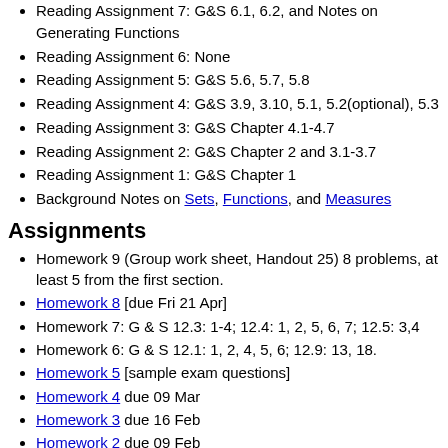Reading Assignment 7: G&S 6.1, 6.2, and Notes on Generating Functions
Reading Assignment 6: None
Reading Assignment 5: G&S 5.6, 5.7, 5.8
Reading Assignment 4: G&S 3.9, 3.10, 5.1, 5.2(optional), 5.3
Reading Assignment 3: G&S Chapter 4.1-4.7
Reading Assignment 2: G&S Chapter 2 and 3.1-3.7
Reading Assignment 1: G&S Chapter 1
Background Notes on Sets, Functions, and Measures
Assignments
Homework 9 (Group work sheet, Handout 25) 8 problems, at least 5 from the first section.
Homework 8 [due Fri 21 Apr]
Homework 7: G & S 12.3: 1-4; 12.4: 1, 2, 5, 6, 7; 12.5: 3,4
Homework 6: G & S 12.1: 1, 2, 4, 5, 6; 12.9: 13, 18.
Homework 5 [sample exam questions]
Homework 4 due 09 Mar
Homework 3 due 16 Feb
Homework 2 due 09 Feb
Homework 1 due 26 Jan
Solutions